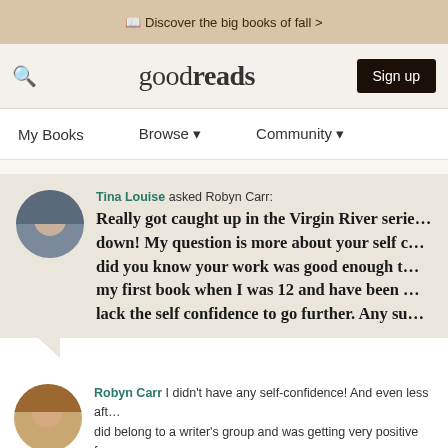Discover the big books of fall >
[Figure (logo): Goodreads logo with search icon and Sign up button]
My Books   Browse ▼   Community ▼
Tina Louise asked Robyn Carr: Really got caught up in the Virgin River series and couldn't put it down! My question is more about your self confidence as a writer - how did you know your work was good enough to publish? I started writing my first book when I was 12 and have been trying ever since but I lack the self confidence to go further. Any suggestions?
Robyn Carr I didn't have any self-confidence! And even less after rejection. I did belong to a writer's group and was getting very positive feedback. I was trying to objectively rate my own meager talent against published novels. And rejection was part of the process. In retrospect, I've done many things while afraid. Childbirth comes immediately to mind!